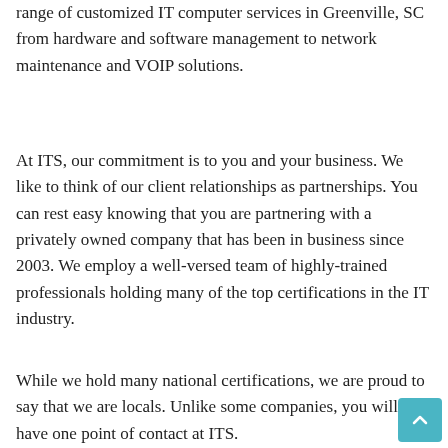Working as a team to provide our clients with a wide range of customized IT computer services in Greenville, SC from hardware and software management to network maintenance and VOIP solutions.
At ITS, our commitment is to you and your business. We like to think of our client relationships as partnerships. You can rest easy knowing that you are partnering with a privately owned company that has been in business since 2003. We employ a well-versed team of highly-trained professionals holding many of the top certifications in the IT industry.
While we hold many national certifications, we are proud to say that we are locals. Unlike some companies, you will have one point of contact at ITS.